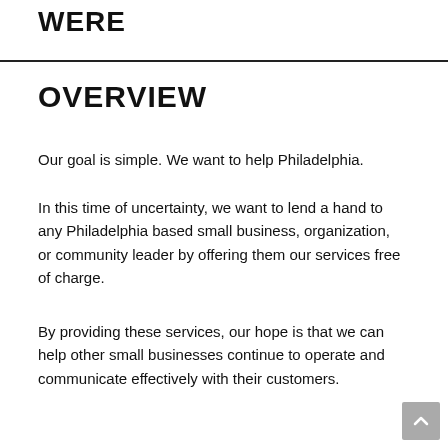WERE
OVERVIEW
Our goal is simple. We want to help Philadelphia.
In this time of uncertainty, we want to lend a hand to any Philadelphia based small business, organization, or community leader by offering them our services free of charge.
By providing these services, our hope is that we can help other small businesses continue to operate and communicate effectively with their customers.